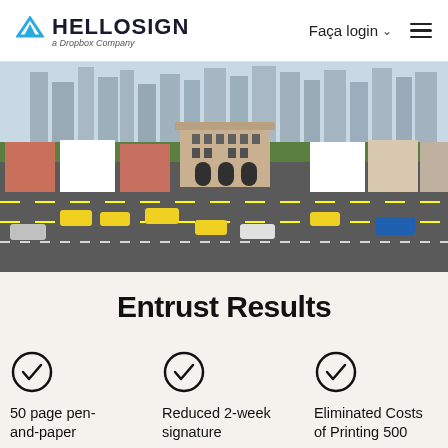HELLOSIGN a Dropbox Company | Faça login | menu
[Figure (photo): Aerial view of a Singapore street scene with yellow taxis, shophouses, and skyscrapers in the background]
Entrust Results
50 page pen-and-paper
Reduced 2-week signature
Eliminated Costs of Printing 500